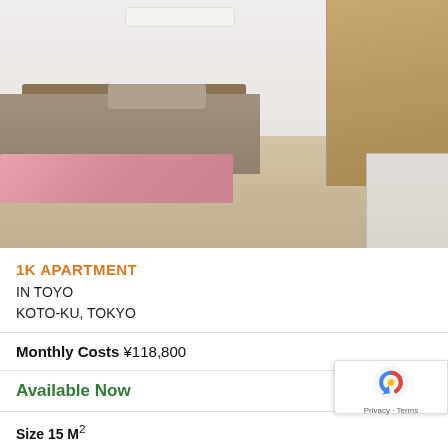[Figure (photo): Interior photo of a 1K apartment room showing a single bed with a pink blanket, wooden headboard, wall-mounted air conditioning unit, wood-look flooring, white walls, a tall wooden wardrobe/closet door on the right, and a sliding door.]
1K APARTMENT
IN TOYO
KOTO-KU, TOKYO
Monthly Costs ¥118,800
Available Now
Size 15 M²